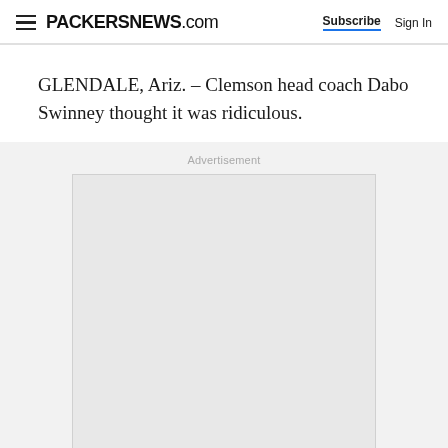PACKERSNEWS.com  Subscribe  Sign In
GLENDALE, Ariz. – Clemson head coach Dabo Swinney thought it was ridiculous.
Advertisement
[Figure (other): Advertisement placeholder box with light gray background and border]